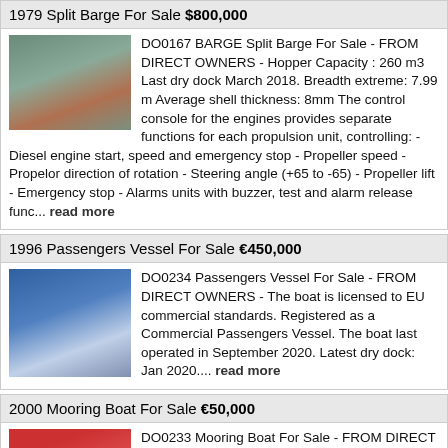1979 Split Barge For Sale $800,000
[Figure (photo): Photo of a split barge vessel on water]
DO0167 BARGE Split Barge For Sale - FROM DIRECT OWNERS - Hopper Capacity : 260 m3 Last dry dock March 2018. Breadth extreme: 7.99 m Average shell thickness: 8mm The control console for the engines provides separate functions for each propulsion unit, controlling: - Diesel engine start, speed and emergency stop - Propeller speed - Propelor direction of rotation - Steering angle (+65 to -65) - Propeller lift - Emergency stop - Alarms units with buzzer, test and alarm release func... read more
1996 Passengers Vessel For Sale €450,000
[Figure (photo): Photo of a passengers vessel docked at a marina]
DO0234 Passengers Vessel For Sale - FROM DIRECT OWNERS - The boat is licensed to EU commercial standards. Registered as a Commercial Passengers Vessel. The boat last operated in September 2020. Latest dry dock: Jan 2020.... read more
2000 Mooring Boat For Sale €50,000
[Figure (photo): Photo of a red mooring boat]
DO0233 Mooring Boat For Sale - FROM DIRECT OWNERS - Latest dry dock August 2020... read more